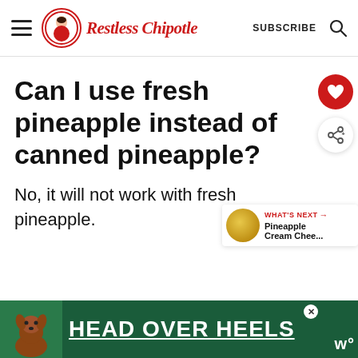Restless Chipotle — SUBSCRIBE
Can I use fresh pineapple instead of canned pineapple?
No, it will not work with fresh pineapple.
[Figure (other): Red heart icon button and share icon button on the right side]
[Figure (other): WHAT'S NEXT thumbnail with text: Pineapple Cream Chee...]
[Figure (other): Advertisement banner: HEAD OVER HEELS with dog image on green background]